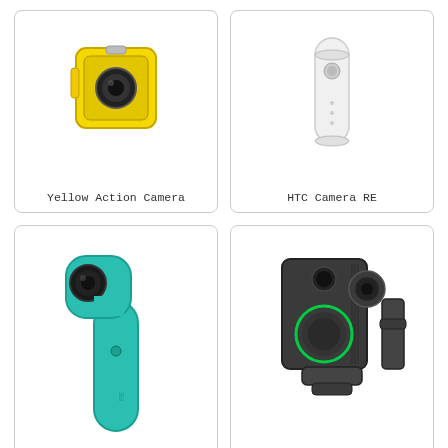[Figure (photo): Yellow action camera, compact cube shape with yellow and black colors, lens visible on front]
Yellow Action Camera
[Figure (photo): HTC Camera RE, white cylindrical tube-shaped camera]
HTC Camera RE
[Figure (photo): HTC Camera RE, teal/green handheld camera with angled lens on top, ergonomic design]
HTC Camera RE
[Figure (photo): Body camera with magnet mount, dark grey rugged body camera with circular green LED ring and side mounting clip]
Body Camera with Magnet Mount
[Figure (photo): Body camera with magnet mount, dark grey body camera, front-facing view showing lens and mounting bracket]
[Figure (photo): Large DSLR camera, black professional camera body with large lens, top-right angled view]